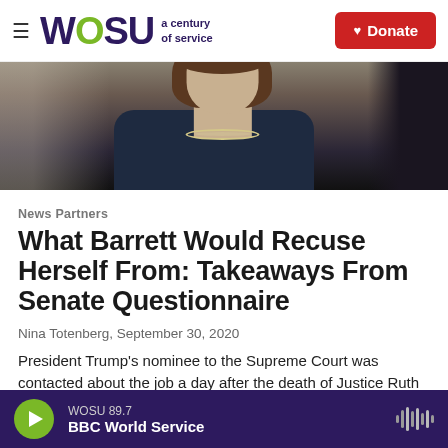WOSU a century of service | Donate
[Figure (photo): Close-up photo of Amy Coney Barrett from below the chin, showing her pearl necklace and dark clothing, with another figure partially visible in the background.]
News Partners
What Barrett Would Recuse Herself From: Takeaways From Senate Questionnaire
Nina Totenberg,  September 30, 2020
President Trump's nominee to the Supreme Court was contacted about the job a day after the death of Justice Ruth Bader Ginsburg, according to
WOSU 89.7  BBC World Service